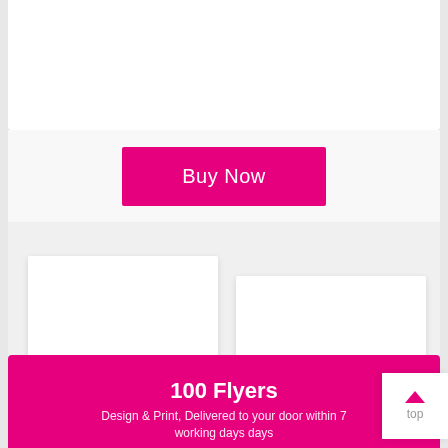[Figure (screenshot): Top white card area, partially visible at the top of the page]
[Figure (screenshot): Buy Now button - hot pink/magenta rectangular button with white text 'Buy Now']
[Figure (screenshot): Middle section showing two white card/paper shapes on gray background, representing flyer preview]
100 Flyers
Design & Print, Delivered to your door within 7 working days days